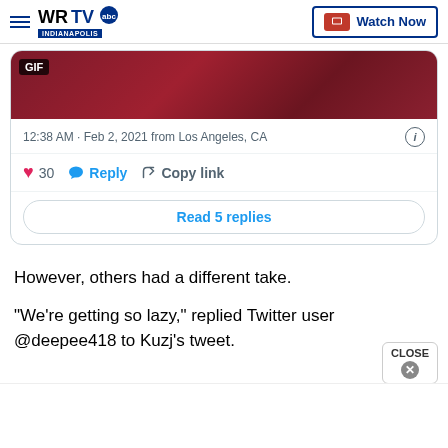WRTV Indianapolis | Watch Now
[Figure (screenshot): Embedded tweet showing a GIF with dark red/maroon background texture, timestamp 12:38 AM · Feb 2, 2021 from Los Angeles, CA, with 30 likes, Reply and Copy link buttons, and a Read 5 replies button]
However, others had a different take.
“We’re getting so lazy,” replied Twitter user @deepee418 to Kuzj’s tweet.